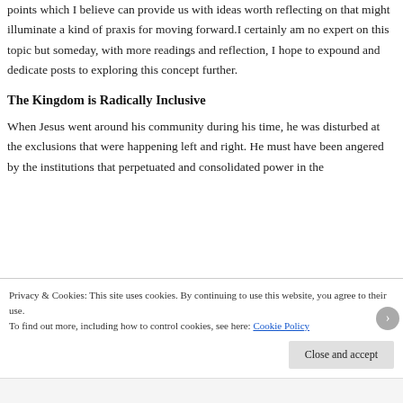points which I believe can provide us with ideas worth reflecting on that might illuminate a kind of praxis for moving forward.I certainly am no expert on this topic but someday, with more readings and reflection, I hope to expound and dedicate posts to exploring this concept further.
The Kingdom is Radically Inclusive
When Jesus went around his community during his time, he was disturbed at the exclusions that were happening left and right. He must have been angered by the institutions that perpetuated and consolidated power in the
Privacy & Cookies: This site uses cookies. By continuing to use this website, you agree to their use.
To find out more, including how to control cookies, see here: Cookie Policy
Close and accept